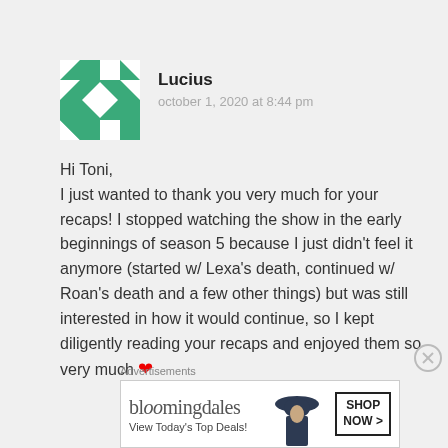[Figure (illustration): Green and white geometric pattern avatar for user Lucius]
Lucius
october 1, 2020 at 8:44 pm
Hi Toni,
I just wanted to thank you very much for your recaps! I stopped watching the show in the early beginnings of season 5 because I just didn't feel it anymore (started w/ Lexa's death, continued w/ Roan's death and a few other things) but was still interested in how it would continue, so I kept diligently reading your recaps and enjoyed them so very much ❤
Advertisements
[Figure (screenshot): Bloomingdale's advertisement banner: logo, 'View Today's Top Deals!', woman in large hat, 'SHOP NOW >' button]